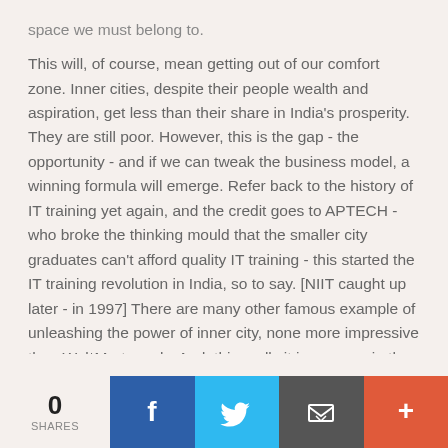space we must belong to.
This will, of course, mean getting out of our comfort zone. Inner cities, despite their people wealth and aspiration, get less than their share in India's prosperity. They are still poor. However, this is the gap - the opportunity - and if we can tweak the business model, a winning formula will emerge. Refer back to the history of IT training yet again, and the credit goes to APTECH - who broke the thinking mould that the smaller city graduates can't afford quality IT training - this started the IT training revolution in India, so to say. [NIIT caught up later - in 1997] There are many other famous example of unleashing the power of inner city, none more impressive than Wal*Mart surely. And, this really it is - we are in the business of enabling students pursue the career they want - and the inner city is the space for it.
0 SHARES | Facebook | Twitter | Email | More